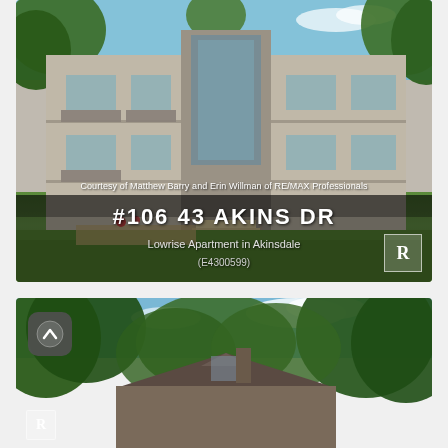[Figure (photo): Exterior photo of a lowrise apartment building at #106 43 Akins Dr in Akinsdale, surrounded by trees. Gray siding with balconies and front entrance stairs visible. Green lawn in foreground. Text overlay at bottom reads courtesy of listing agents and shows property address, type, and MLS number.]
[Figure (photo): Exterior photo of a house heavily surrounded by mature trees. Dark roof visible through foliage. Blue sky with clouds in background. Arrow-up icon overlay in top-left corner and Realtor R logo in bottom-left.]